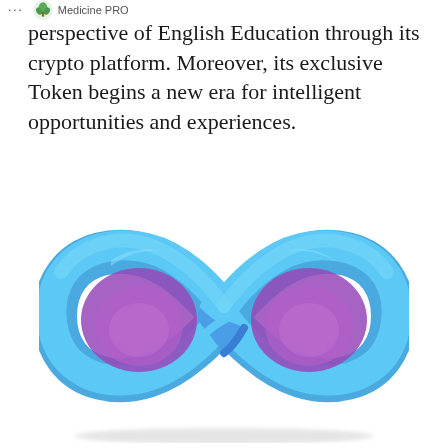Medicine PRO
perspective of English Education through its crypto platform. Moreover, its exclusive Token begins a new era for intelligent opportunities and experiences.
[Figure (illustration): A 3D infinity symbol (lemniscate) rendered with a gradient from blue at the top/outer edges to purple/violet at the inner/lower portions, with a glossy ribbon-like appearance suggesting depth and continuity.]